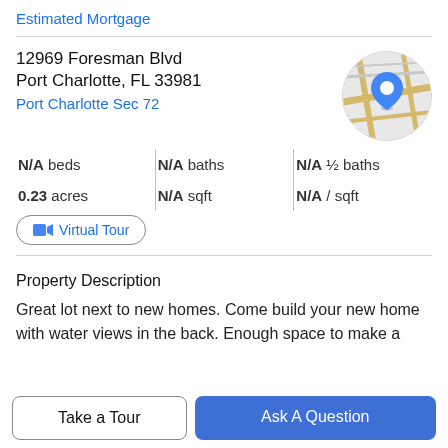Estimated Mortgage
12969 Foresman Blvd
Port Charlotte, FL 33981
Port Charlotte Sec 72
[Figure (map): Circular map thumbnail showing street map with a blue location pin marker.]
N/A beds | N/A baths | N/A ½ baths
0.23 acres | N/A sqft | N/A / sqft
Virtual Tour
Property Description
Great lot next to new homes. Come build your new home with water views in the back. Enough space to make a
Take a Tour
Ask A Question